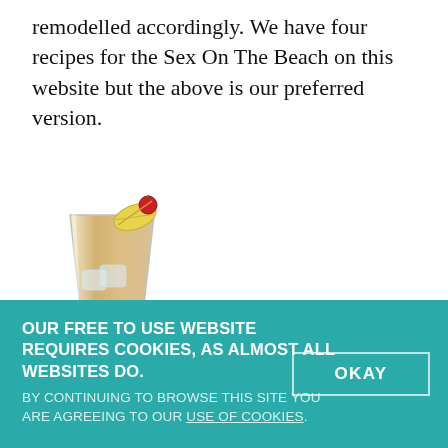remodelled accordingly. We have four recipes for the Sex On The Beach on this website but the above is our preferred version.
[Figure (photo): A tall highball glass containing an amber-colored cocktail with ice, garnished with a lemon slice and a red cherry on a pick.]
Singapore Sling
OUR FREE TO USE WEBSITE REQUIRES COOKIES, AS ALMOST ALL WEBSITES DO. BY CONTINUING TO BROWSE THIS SITE YOU ARE AGREEING TO OUR USE OF COOKIES.